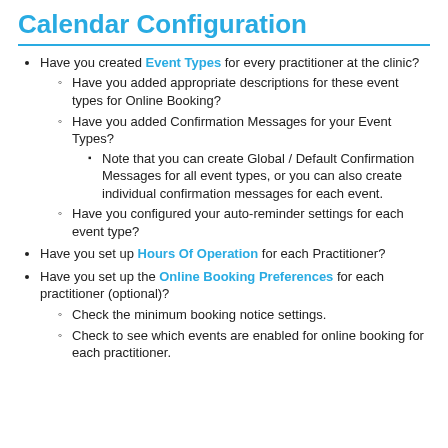Calendar Configuration
Have you created Event Types for every practitioner at the clinic?
Have you added appropriate descriptions for these event types for Online Booking?
Have you added Confirmation Messages for your Event Types?
Note that you can create Global / Default Confirmation Messages for all event types, or you can also create individual confirmation messages for each event.
Have you configured your auto-reminder settings for each event type?
Have you set up Hours Of Operation for each Practitioner?
Have you set up the Online Booking Preferences for each practitioner (optional)?
Check the minimum booking notice settings.
Check to see which events are enabled for online booking for each practitioner.